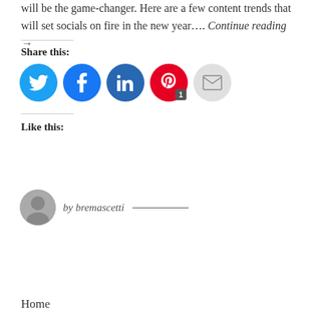will be the game-changer. Here are a few content trends that will set socials on fire in the new year…. Continue reading →
Share this:
[Figure (infographic): Social sharing buttons: Twitter (blue circle), Facebook (blue circle), LinkedIn (blue circle), Pinterest (red circle with badge '1'), Email (grey circle)]
Like this:
by bremascetti ————
Home